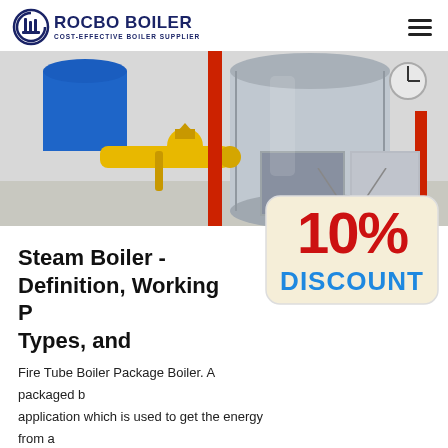ROCBO BOILER - COST-EFFECTIVE BOILER SUPPLIER
[Figure (photo): Industrial boiler room with blue and yellow pipes, red vertical pipe, and large stainless steel cylindrical boiler units]
Steam Boiler - Definition, Working Principle, Types, and
Fire Tube Boiler Package Boiler. A packaged boiler is a separate application which is used to get the energy from an burner with fueled by oil or gas. This type of boiler producing huge steam output at a high-pressure
[Figure (illustration): 10% DISCOUNT promotional sign overlay]
[Figure (photo): Customer service representative wearing headset, smiling]
Get Price
7X24 Online